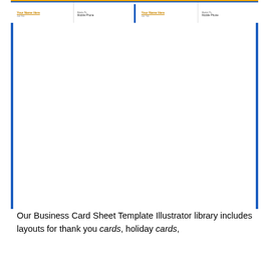[Figure (other): Two partial business card templates visible at the top of the page. Each card shows placeholder text: 'Your Name Here' in orange underlined, a job title line, 'Mobile Phone' label, and a phone number placeholder. Blue vertical border accents on left and right edges, gold top border strip.]
Our Business Card Sheet Template Illustrator library includes layouts for thank you cards, holiday cards,